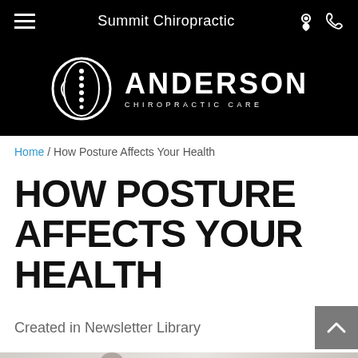Summit Chiropractic
[Figure (logo): Anderson Chiropractic Care logo — oval spine graphic with ANDERSON text and CHIROPRACTIC CARE subtitle on black background]
Home / How Posture Affects Your Health
HOW POSTURE AFFECTS YOUR HEALTH
Created in Newsletter Library
[Figure (photo): Partial photo of a woman at the bottom of the page, cropped]